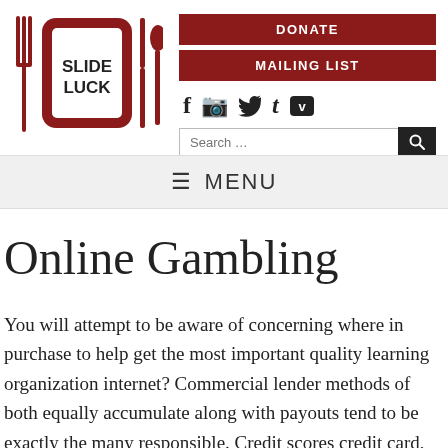[Figure (logo): Slideluck logo: red square plate with fork and knife silhouettes, white text SLIDE LUCK]
DONATE
MAILING LIST
[Figure (infographic): Social media icons: Facebook, Instagram, Twitter, Tumblr, Vimeo]
Search ...
≡  MENU
Online Gambling
You will attempt to be aware of concerning where in purchase to help get the most important quality learning organization internet? Commercial lender methods of both equally accumulate along with payouts tend to be exactly the many responsible. Credit scores credit card, eWallet not to mention